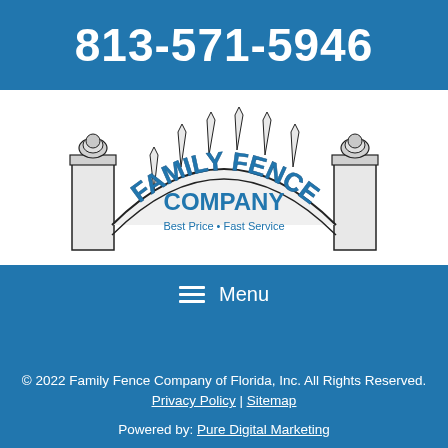813-571-5946
[Figure (logo): Family Fence Company logo — an arched fence gate with pickets, two pillars with ball finials, text 'FAMILY FENCE COMPANY' in blue arched lettering, tagline 'Best Price • Fast Service']
≡  Menu
© 2022 Family Fence Company of Florida, Inc. All Rights Reserved. Privacy Policy | Sitemap
Powered by: Pure Digital Marketing